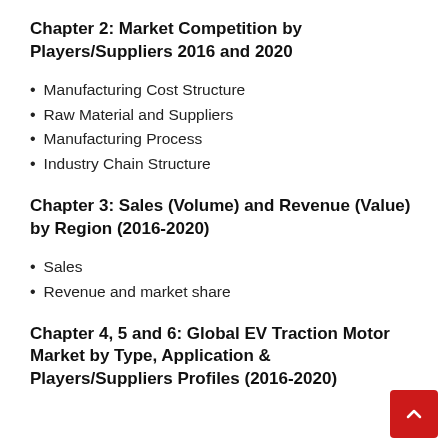Chapter 2: Market Competition by Players/Suppliers 2016 and 2020
Manufacturing Cost Structure
Raw Material and Suppliers
Manufacturing Process
Industry Chain Structure
Chapter 3: Sales (Volume) and Revenue (Value) by Region (2016-2020)
Sales
Revenue and market share
Chapter 4, 5 and 6: Global EV Traction Motor Market by Type, Application & Players/Suppliers Profiles (2016-2020)